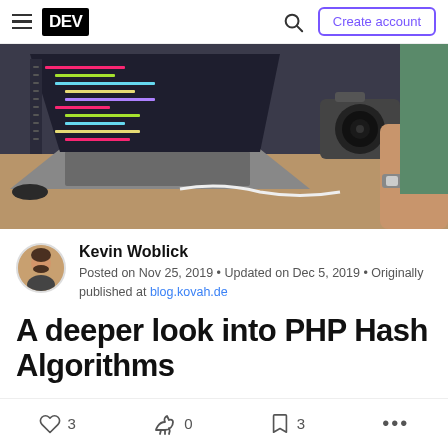DEV | Create account
[Figure (photo): Developer working on a laptop showing code editor, with a camera in the background on a desk]
Kevin Woblick
Posted on Nov 25, 2019 • Updated on Dec 5, 2019 • Originally published at blog.kovah.de
A deeper look into PHP Hash Algorithms
3 likes | 0 unicorns | 3 saves